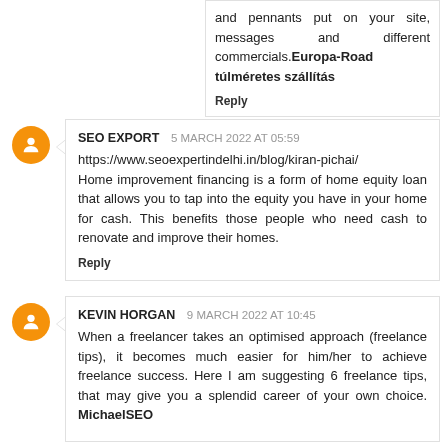and pennants put on your site, messages and different commercials.Europa-Road túlméretes szállítás
Reply
SEO EXPORT 5 MARCH 2022 AT 05:59
https://www.seoexpertindelhi.in/blog/kiran-pichai/ Home improvement financing is a form of home equity loan that allows you to tap into the equity you have in your home for cash. This benefits those people who need cash to renovate and improve their homes.
Reply
KEVIN HORGAN 9 MARCH 2022 AT 10:45
When a freelancer takes an optimised approach (freelance tips), it becomes much easier for him/her to achieve freelance success. Here I am suggesting 6 freelance tips, that may give you a splendid career of your own choice. MichaelSEO